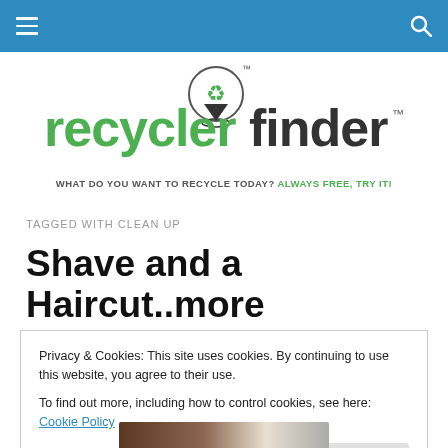Navigation bar with hamburger menu and search icon
[Figure (logo): Recycler Finder logo with green recycling pin icon and TM marks]
WHAT DO YOU WANT TO RECYCLE TODAY? ALWAYS FREE, TRY IT!
TAGGED WITH CLEAN UP
Shave and a Haircut..more
Privacy & Cookies: This site uses cookies. By continuing to use this website, you agree to their use.
To find out more, including how to control cookies, see here: Cookie Policy
Close and accept